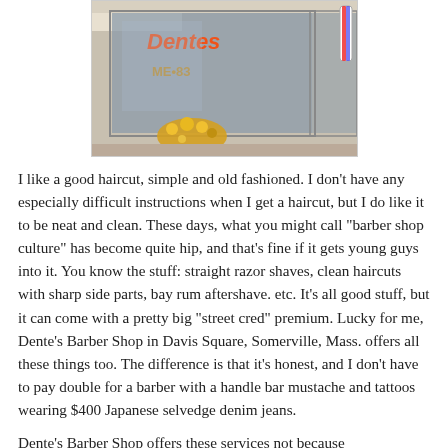[Figure (photo): Exterior storefront of Dente's Barber Shop in Davis Square, Somerville, showing glass windows with neon sign reading 'Dentes', yellow flowers in front, and a barber pole on the right side.]
I like a good haircut, simple and old fashioned. I don't have any especially difficult instructions when I get a haircut, but I do like it to be neat and clean. These days, what you might call "barber shop culture" has become quite hip, and that's fine if it gets young guys into it. You know the stuff: straight razor shaves, clean haircuts with sharp side parts, bay rum aftershave. etc. It's all good stuff, but it can come with a pretty big "street cred" premium. Lucky for me, Dente's Barber Shop in Davis Square, Somerville, Mass. offers all these things too. The difference is that it's honest, and I don't have to pay double for a barber with a handle bar mustache and tattoos wearing $400 Japanese selvedge denim jeans.
Dente's Barber Shop offers these services not because